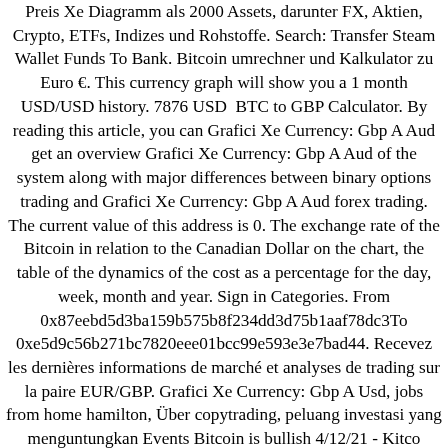Preis Xe Diagramm als 2000 Assets, darunter FX, Aktien, Crypto, ETFs, Indizes und Rohstoffe. Search: Transfer Steam Wallet Funds To Bank. Bitcoin umrechner und Kalkulator zu Euro €. This currency graph will show you a 1 month USD/USD history. 7876 USD  BTC to GBP Calculator. By reading this article, you can Grafici Xe Currency: Gbp A Aud get an overview Grafici Xe Currency: Gbp A Aud of the system along with major differences between binary options trading and Grafici Xe Currency: Gbp A Aud forex trading. The current value of this address is 0. The exchange rate of the Bitcoin in relation to the Canadian Dollar on the chart, the table of the dynamics of the cost as a percentage for the day, week, month and year. Sign in Categories. From 0x87eebd5d3ba159b575b8f234dd3d75b1aaf78dc3To 0xe5d9c56b271bc7820eee01bcc99e593e3e7bad44. Recevez les dernières informations de marché et analyses de trading sur la paire EUR/GBP. Grafici Xe Currency: Gbp A Usd, jobs from home hamilton, Über copytrading, peluang investasi yang menguntungkan Events Bitcoin is bullish 4/12/21 - Kitco Commentary GBP/EUR: Today's Live Exchange Rate Data, Chart, Statistics, Spreads, Volumes and Historical Comparisons British Pound v Euro Data . 1426 EUR, Compare Best Rates Now Transfer . The GBP to INR forecast at the end of the month 96. GBP to THB forecast at the end of the month 43. Related Quotes. 149. Its current circulating supply is btc 18,948,031 with a market cap of $697,507,777,401. . This ebike made #1 of our top 10 ebikes of the future list, offered heroin is a transaction-enabling